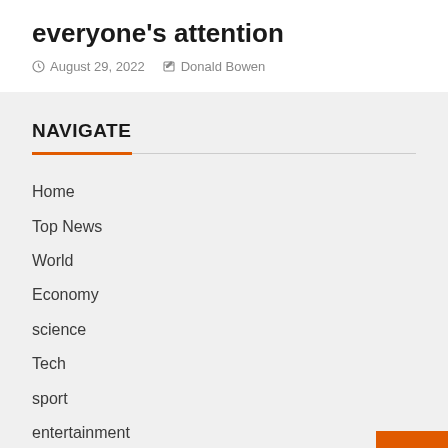everyone's attention
August 29, 2022   Donald Bowen
NAVIGATE
Home
Top News
World
Economy
science
Tech
sport
entertainment
Contact Form